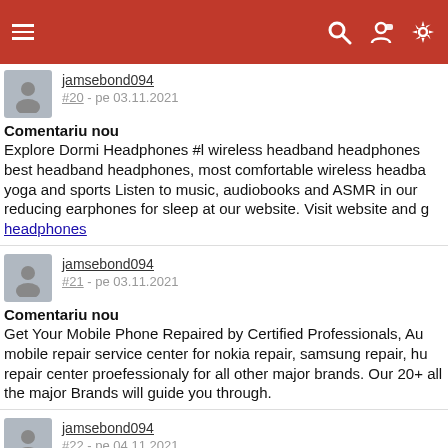jamsebond094 #20 - pe 03.11.2021
Comentariu nou
Explore Dormi Headphones #l wireless headband headphones best headband headphones, most comfortable wireless headband yoga and sports Listen to music, audiobooks and ASMR in our reducing earphones for sleep at our website. Visit website and g headphones
jamsebond094
#21 - pe 03.11.2021
Comentariu nou
Get Your Mobile Phone Repaired by Certified Professionals, Au mobile repair service center for nokia repair, samsung repair, hu repair center proefessionaly for all other major brands. Our 20+ all the major Brands will guide you through.
jamsebond094
#22 - pe 04.11.2021